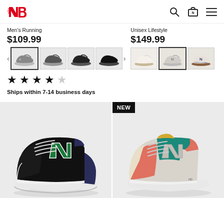New Balance header with logo, search, cart, menu icons
Men's Running
$109.99
Unisex Lifestyle
$149.99
[Figure (photo): Shoe color variant thumbnails carousel for Men's Running shoe, 4 thumbnails shown, first selected]
[Figure (photo): Shoe color variant thumbnails carousel for Unisex Lifestyle shoe, 3 thumbnails shown, second selected]
★★★★☆ (4 out of 5 stars)
Ships within 7-14 business days
[Figure (photo): New Balance 574 sneaker in black/white/green colorway, left side view]
[Figure (photo): New Balance 574 sneaker in white/teal/pink colorway, right side view, labeled NEW]